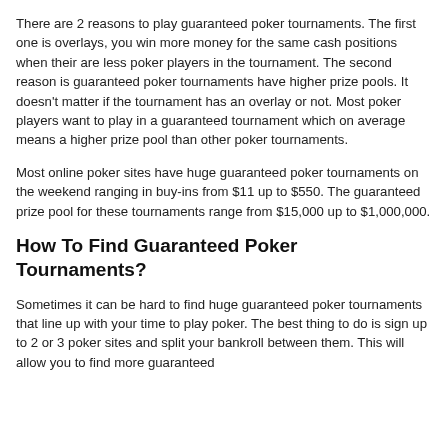There are 2 reasons to play guaranteed poker tournaments. The first one is overlays, you win more money for the same cash positions when their are less poker players in the tournament. The second reason is guaranteed poker tournaments have higher prize pools. It doesn't matter if the tournament has an overlay or not. Most poker players want to play in a guaranteed tournament which on average means a higher prize pool than other poker tournaments.
Most online poker sites have huge guaranteed poker tournaments on the weekend ranging in buy-ins from $11 up to $550. The guaranteed prize pool for these tournaments range from $15,000 up to $1,000,000.
How To Find Guaranteed Poker Tournaments?
Sometimes it can be hard to find huge guaranteed poker tournaments that line up with your time to play poker. The best thing to do is sign up to 2 or 3 poker sites and split your bankroll between them. This will allow you to find more guaranteed